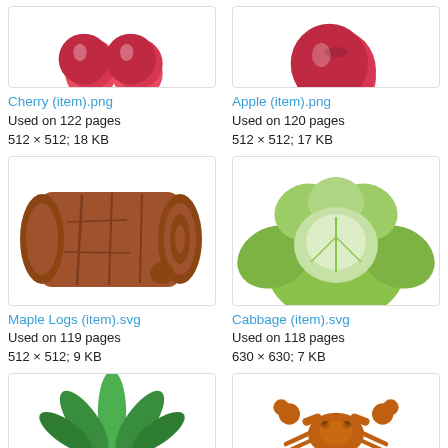[Figure (illustration): Cherry item icon - two red cherries with stems, partially cropped at top]
Cherry (item).png
Used on 122 pages
512 × 512; 18 KB
[Figure (illustration): Apple item icon - red apple, partially cropped at top]
Apple (item).png
Used on 120 pages
512 × 512; 17 KB
[Figure (illustration): Maple Logs item icon - brown wooden log with a small branch stub]
Maple Logs (item).svg
Used on 119 pages
512 × 512; 9 KB
[Figure (illustration): Cabbage item icon - green round cabbage head with leaves]
Cabbage (item).svg
Used on 118 pages
630 × 630; 7 KB
[Figure (illustration): Green leaves item icon - partially cropped at bottom]
[Figure (illustration): Crab item icon - brown crab, partially cropped at bottom]